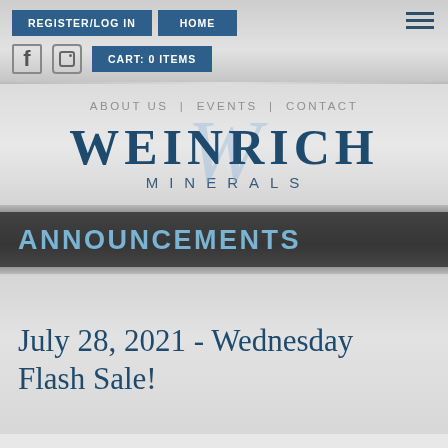REGISTER/LOG IN | HOME
f  [instagram icon]  CART: 0 ITEMS
ABOUT US | EVENTS | CONTACT
WEINRICH MINERALS
ANNOUNCEMENTS
July 28, 2021 - Wednesday Flash Sale!